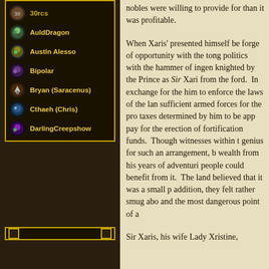30rcs
AuldDragon
Austin Alesso
Bipolar
Bryan (Saracenus)
Cthaeh (Chris)
DarlingCreepshow
nobles were willing to provide for than it was profitable.
When Xaris' presented himself be forge of opportunity with the tong politics with the hammer of ingen knighted by the Prince as Sir Xari from the ford. In exchange for the him to enforce the laws of the lan sufficient armed forces for the pro taxes determined by him to be app pay for the erection of fortification funds. Though witnesses within t genius for such an arrangement, b wealth from his years of adventuri people could benefit from it. The land believed that it was a small p addition, they felt rather smug abo and the most dangerous point of a
Sir Xaris, his wife Lady Xristine,